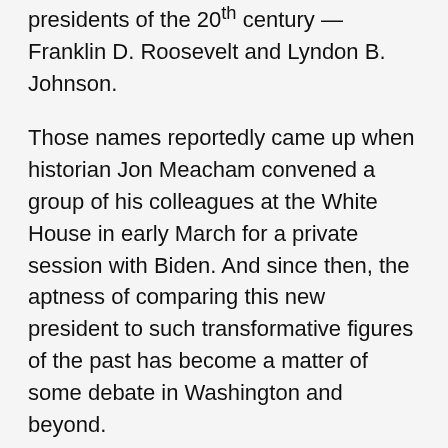presidents of the 20th century — Franklin D. Roosevelt and Lyndon B. Johnson.
Those names reportedly came up when historian Jon Meacham convened a group of his colleagues at the White House in early March for a private session with Biden. And since then, the aptness of comparing this new president to such transformative figures of the past has become a matter of some debate in Washington and beyond.
The sheer scale of Biden's spending and change agenda finds its analog only in the early achievements of FDR and LBJ. But which of those administrations offers the better insight into what is happening now, or what happens next?
Roosevelt, in just his first hundred days in 1933, reversed the tide of U.S. public policy after a dozen years of